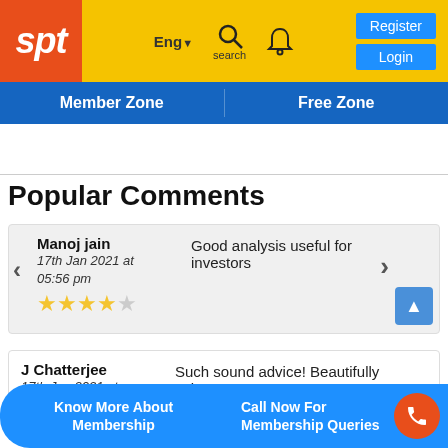[Figure (logo): SPT logo with orange background and white italic 'spt' text]
Eng▼ search | Register | Login
Member Zone | Free Zone
Popular Comments
Manoj jain — 17th Jan 2021 at 05:56 pm — 4 stars — Good analysis useful for investors
J Chatterjee — 17th Jan 2021 at 04:01 pm — Such sound advice! Beautifully written.
Know More About Membership | Call Now For Membership Queries